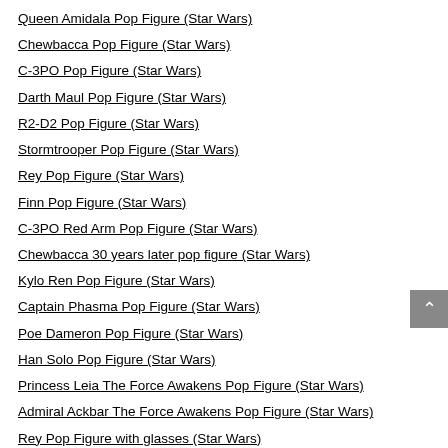Queen Amidala Pop Figure (Star Wars)
Chewbacca Pop Figure (Star Wars)
C-3PO Pop Figure (Star Wars)
Darth Maul Pop Figure (Star Wars)
R2-D2 Pop Figure (Star Wars)
Stormtrooper Pop Figure (Star Wars)
Rey Pop Figure (Star Wars)
Finn Pop Figure (Star Wars)
C-3PO Red Arm Pop Figure (Star Wars)
Chewbacca 30 years later pop figure (Star Wars)
Kylo Ren Pop Figure (Star Wars)
Captain Phasma Pop Figure (Star Wars)
Poe Dameron Pop Figure (Star Wars)
Han Solo Pop Figure (Star Wars)
Princess Leia The Force Awakens Pop Figure (Star Wars)
Admiral Ackbar The Force Awakens Pop Figure (Star Wars)
Rey Pop Figure with glasses (Star Wars)